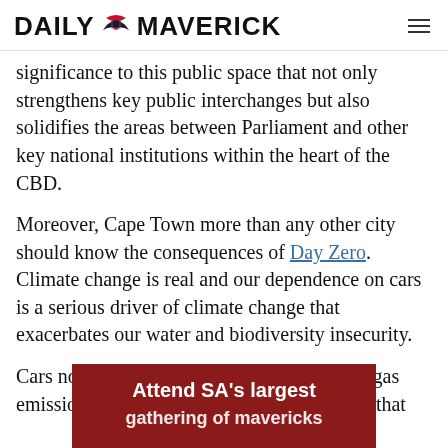DAILY MAVERICK
significance to this public space that not only strengthens key public interchanges but also solidifies the areas between Parliament and other key national institutions within the heart of the CBD.
Moreover, Cape Town more than any other city should know the consequences of Day Zero. Climate change is real and our dependence on cars is a serious driver of climate change that exacerbates our water and biodiversity insecurity.
Cars not only contribute a lot of greenhouse gas emissions — they also take up a lot of space that
[Figure (infographic): Dark red advertisement banner reading 'Attend SA's largest gathering of mavericks']